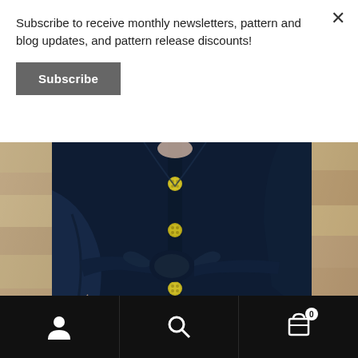Subscribe to receive monthly newsletters, pattern and blog updates, and pattern release discounts!
[Figure (screenshot): Subscribe button — dark grey rounded rectangle with bold white text 'Subscribe']
[Figure (photo): Close-up photo of a person wearing a navy blue textured dress with yellow/green buttons down the front and a tied fabric belt at the waist, standing against a stone wall background]
[Figure (screenshot): Mobile app bottom navigation bar with black background containing three icons: user/account icon on left, search/magnifying glass icon in center, and shopping cart icon with badge showing '0' on right]